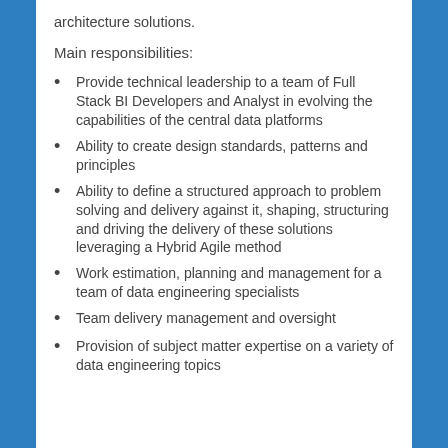architecture solutions.
Main responsibilities:
Provide technical leadership to a team of Full Stack BI Developers and Analyst in evolving the capabilities of the central data platforms
Ability to create design standards, patterns and principles
Ability to define a structured approach to problem solving and delivery against it, shaping, structuring and driving the delivery of these solutions leveraging a Hybrid Agile method
Work estimation, planning and management for a team of data engineering specialists
Team delivery management and oversight
Provision of subject matter expertise on a variety of data engineering topics